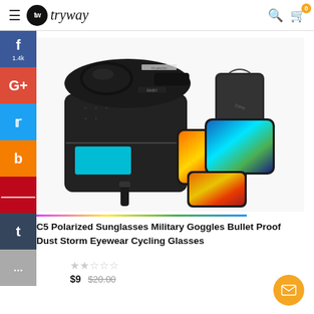tryway
[Figure (photo): Daisy C5 Polarized Sunglasses military goggles set with case, multiple colored lens pairs (orange, blue mirror), and a carrying pouch against a white background]
C5 Polarized Sunglasses Military Goggles Bullet Proof Dust Storm Eyewear Cycling Glasses
★★☆☆☆
$9  $20.00